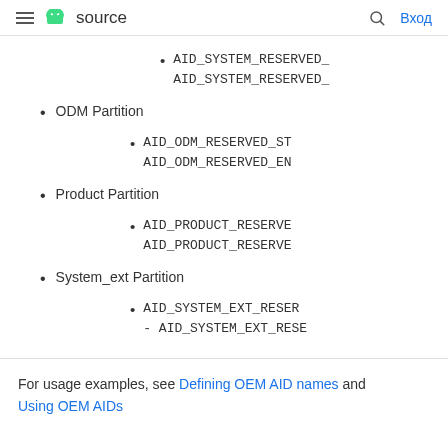≡ 🤖 source   🔍 Вход
AID_SYSTEM_RESERVED_ AID_SYSTEM_RESERVED_
ODM Partition
AID_ODM_RESERVED_STA AID_ODM_RESERVED_EN
Product Partition
AID_PRODUCT_RESERVE AID_PRODUCT_RESERVE
System_ext Partition
AID_SYSTEM_EXT_RESER - AID_SYSTEM_EXT_RESE
For usage examples, see Defining OEM AID names and Using OEM AIDs